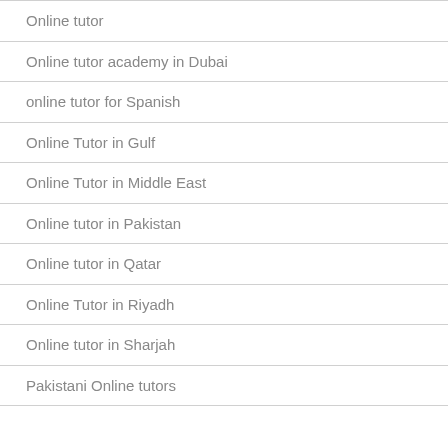Online tutor
Online tutor academy in Dubai
online tutor for Spanish
Online Tutor in Gulf
Online Tutor in Middle East
Online tutor in Pakistan
Online tutor in Qatar
Online Tutor in Riyadh
Online tutor in Sharjah
Pakistani Online tutors